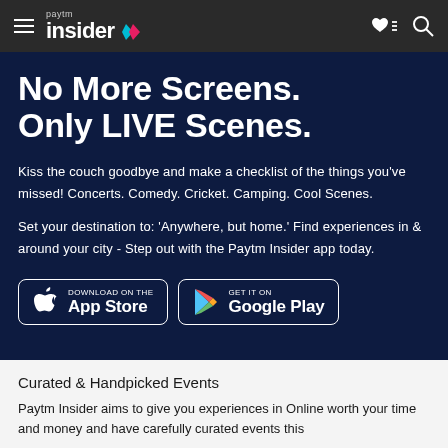Paytm Insider navigation bar
No More Screens. Only LIVE Scenes.
Kiss the couch goodbye and make a checklist of the things you've missed! Concerts. Comedy. Cricket. Camping. Cool Scenes.
Set your destination to: 'Anywhere, but home.' Find experiences in & around your city - Step out with the Paytm Insider app today.
[Figure (screenshot): App Store download badge button]
[Figure (screenshot): Google Play download badge button]
Curated & Handpicked Events
Paytm Insider aims to give you experiences in Online worth your time and money and have carefully curated events this...